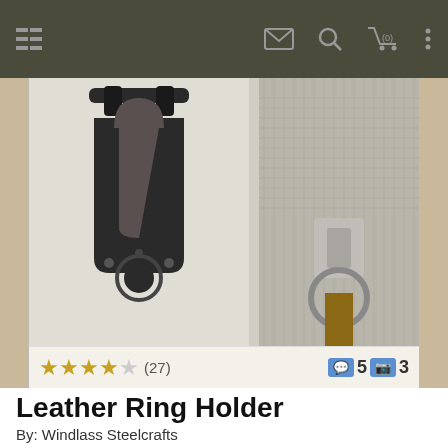Navigation bar with menu, mail, search, cart (0), and more options
[Figure (photo): Product photo showing a black leather ring holder/frog for axe, sword and dagger on left side, and a chainmail-clad arm with a metal ring detail on the right side. Rating bar at bottom shows 4 gold stars out of 5, (27) reviews, 5 comments, 3 photos.]
Leather Ring Holder
By: Windlass Steelcrafts
This axe, sword and dagger frog is hand crafted of durable, full grain leather replete with nickel plated, metal studs.
Stock: IN STOCK
Price: $14.99 🇺🇸